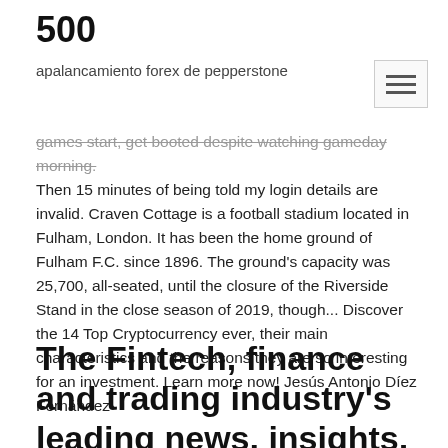500
apalancamiento forex de pepperstone
games start, get booted despite watching gameday morning. Then 15 minutes of being told my login details are invalid. Craven Cottage is a football stadium located in Fulham, London. It has been the home ground of Fulham F.C. since 1896. The ground's capacity was 25,700, all-seated, until the closure of the Riverside Stand in the close season of 2019, though... Discover the 14 Top Cryptocurrency ever, their main characteristics and the reasons they are so interesting for an investment. Learn more now! Jesús Antonio Díez Fernández
The Fintech, finance and trading industry's leading news, insights, and